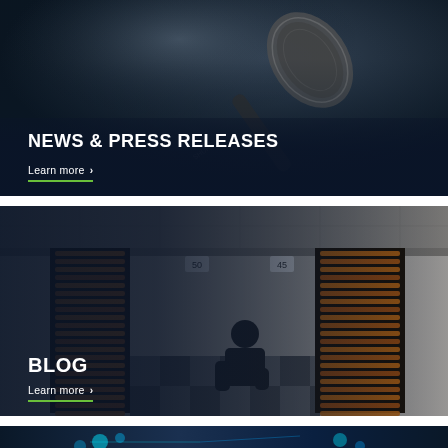[Figure (photo): Close-up photo of a microphone against a dark blue background, with text overlay 'NEWS & PRESS RELEASES' and 'Learn more' link with green underline]
[Figure (photo): Photo of a data center aisle with orange cables on server racks, with a technician crouching, with text overlay 'BLOG' and 'Learn more' link with green underline]
[Figure (photo): Partial photo at bottom showing colorful data center or technology imagery, cropped]